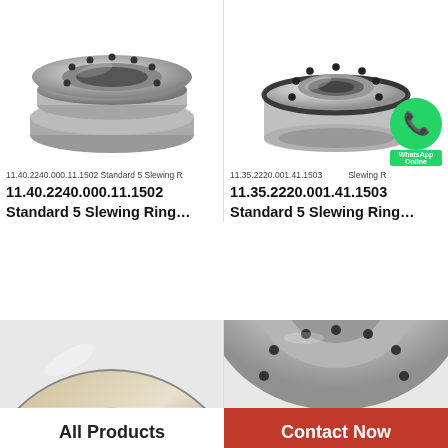[Figure (photo): Slewing ring bearing product photo - multi-layer flanged ring, metallic silver, with bolt holes]
11.40.2240.000.11.1502 Standard 5 Slewing Ring…
[Figure (photo): Slewing ring bearing product photo - compact cylindrical bearing with black rubber seal and bolt holes, with WhatsApp Online contact overlay]
11.35.2220.001.41.1503 Slewing R…
11.40.2240.000.11.1502
Standard 5 Slewing Ring…
11.35.2220.001.41.1503
Standard 5 Slewing Ring…
[Figure (photo): Bottom-left partial view of large slewing ring with gear teeth visible]
[Figure (photo): Bottom-right partial view of slewing ring bearing with bolt holes on flange]
All Products
Contact Now